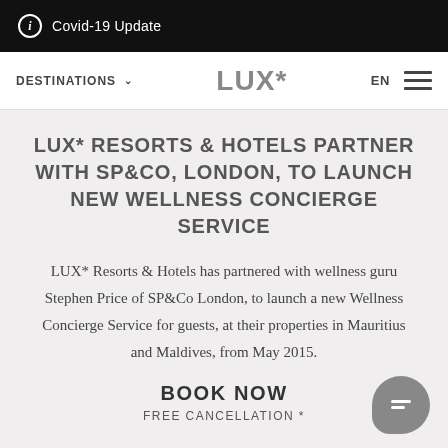ⓘ Covid-19 Update
DESTINATIONS ∨   LUX*   EN  ☰
LUX* RESORTS & HOTELS PARTNER WITH SP&CO, LONDON, TO LAUNCH NEW WELLNESS CONCIERGE SERVICE
LUX* Resorts & Hotels has partnered with wellness guru Stephen Price of SP&Co London, to launch a new Wellness Concierge Service for guests, at their properties in Mauritius and Maldives, from May 2015.
BOOK NOW
FREE CANCELLATION *